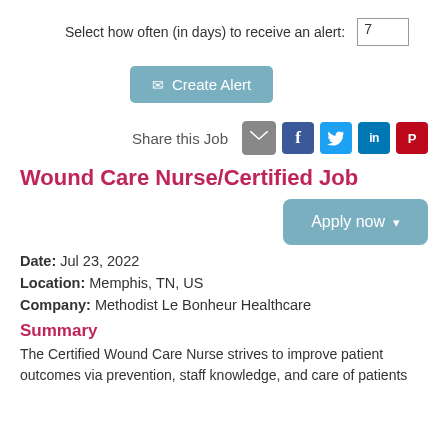Select how often (in days) to receive an alert: 7
✉ Create Alert
Share this Job
Wound Care Nurse/Certified Job
Apply now
Date: Jul 23, 2022
Location: Memphis, TN, US
Company: Methodist Le Bonheur Healthcare
Summary
The Certified Wound Care Nurse strives to improve patient outcomes via prevention, staff knowledge, and care of patients